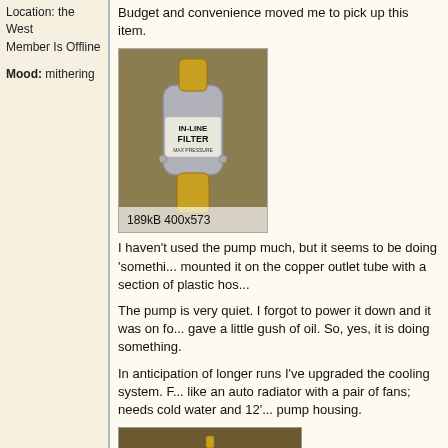Location: the West
Member Is Offline
Mood: mithering
Budget and convenience moved me to pick up this item.
[Figure (photo): An in-line filter device with brass fittings on a light background, labeled '189kB  400x573']
I haven't used the pump much, but it seems to be doing 'somethi... mounted it on the copper outlet tube with a section of plastic hos...
The pump is very quiet. I forgot to power it down and it was on fo... gave a little gush of oil. So, yes, it is doing something.
In anticipation of longer runs I've upgraded the cooling system. F... like an auto radiator with a pair of fans; needs cold water and 12'... pump housing.
[Figure (photo): A small component (appears to be a filter or valve) suspended against a dark/tan background]